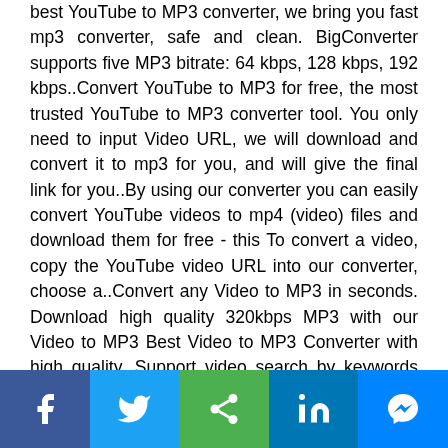best YouTube to MP3 converter, we bring you fast mp3 converter, safe and clean. BigConverter supports five MP3 bitrate: 64 kbps, 128 kbps, 192 kbps..Convert YouTube to MP3 for free, the most trusted YouTube to MP3 converter tool. You only need to input Video URL, we will download and convert it to mp3 for you, and will give the final link for you..By using our converter you can easily convert YouTube videos to mp4 (video) files and download them for free - this To convert a video, copy the YouTube video URL into our converter, choose a..Convert any Video to MP3 in seconds. Download high quality 320kbps MP3 with our Video to MP3 Best Video to MP3 Converter with high quality. Support video search by keywords and Video playlist..youtube to mp3.Our Youtube mp3 converter is very easy to use. We come from years of experience, so we made it with users in mind. Convert youtube to mp3. Online MP3 converter.Peggo is a free YouTube to mp3 converter online Convert your favorite youtube downloader, tracks and
[Figure (other): Social share bar with Facebook, Twitter, Share, LinkedIn, and Messenger buttons]